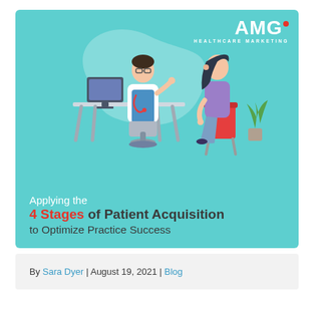[Figure (illustration): Blog post cover image with teal background showing a doctor at a desk consulting with a seated patient, AMG Healthcare Marketing logo in top right corner, with title text overlay: 'Applying the 4 Stages of Patient Acquisition to Optimize Practice Success']
By Sara Dyer | August 19, 2021 | Blog